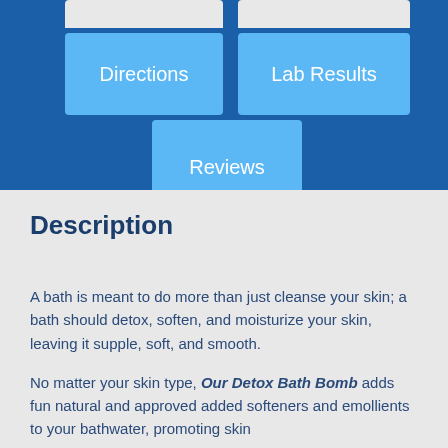[Figure (screenshot): Navigation button grid with blue background. Partial top row with two light grey buttons (cut off). Second row: 'Directions' and 'Lab Results' light blue buttons. Third row: 'Reviews' light blue button centered.]
Description
A bath is meant to do more than just cleanse your skin; a bath should detox, soften, and moisturize your skin, leaving it supple, soft, and smooth.
No matter your skin type, Our Detox Bath Bomb adds fun natural and approved added softeners and emollients to your bathwater, promoting skin